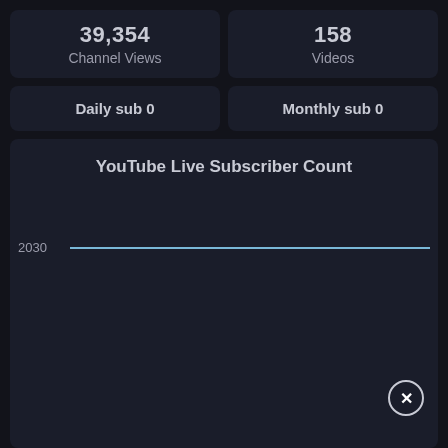39,354
Channel Views
158
Videos
Daily sub 0
Monthly sub 0
[Figure (continuous-plot): A nearly flat horizontal line chart at value 2030 showing YouTube live subscriber count over time. The line is light blue on a dark background. A close/dismiss button (X) is visible in the lower right.]